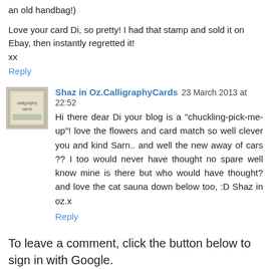an old handbag!)
Love your card Di, so pretty! I had that stamp and sold it on Ebay, then instantly regretted it!
xx
Reply
Shaz in Oz.CalligraphyCards  23 March 2013 at 22:52
Hi there dear Di your blog is a "chuckling-pick-me-up"! love the flowers and card match so well clever you and kind Sarn.. and well the new away of cars ?? I too would never have thought no spare well know mine is there but who would have thought? and love the cat sauna down below too, :D Shaz in oz.x
Reply
To leave a comment, click the button below to sign in with Google.
SIGN IN WITH GOOGLE